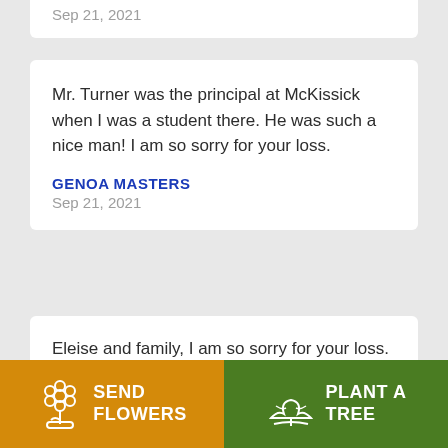Sep 21, 2021
Mr. Turner was the principal at McKissick when I was a student there. He was such a nice man! I am so sorry for your loss.
GENOA MASTERS
Sep 21, 2021
Eleise and family, I am so sorry for your loss. I have always greatly appreciated your family's
SEND FLOWERS
PLANT A TREE